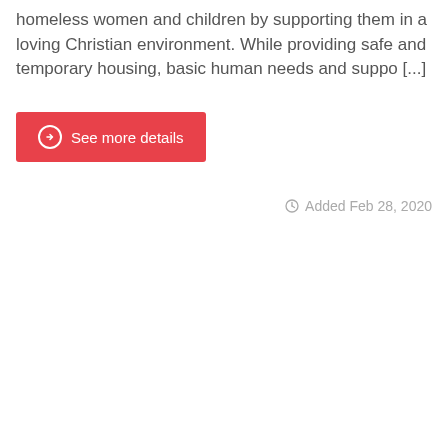homeless women and children by supporting them in a loving Christian environment. While providing safe and temporary housing, basic human needs and suppo [...]
See more details
Added Feb 28, 2020